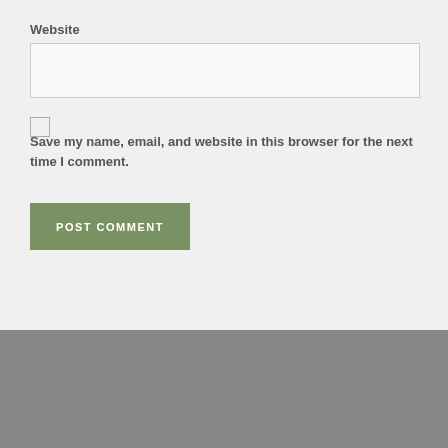Website
Save my name, email, and website in this browser for the next time I comment.
POST COMMENT
Tags
ABORTION
ADVICE
AMERICA
BIBLE